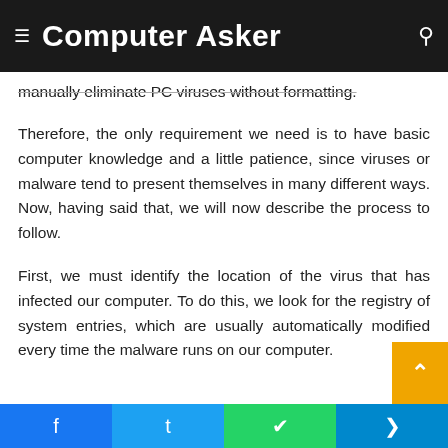Computer Asker
manually eliminate PC viruses without formatting.
Therefore, the only requirement we need is to have basic computer knowledge and a little patience, since viruses or malware tend to present themselves in many different ways. Now, having said that, we will now describe the process to follow.
First, we must identify the location of the virus that has infected our computer. To do this, we look for the registry of system entries, which are usually automatically modified every time the malware runs on our computer.